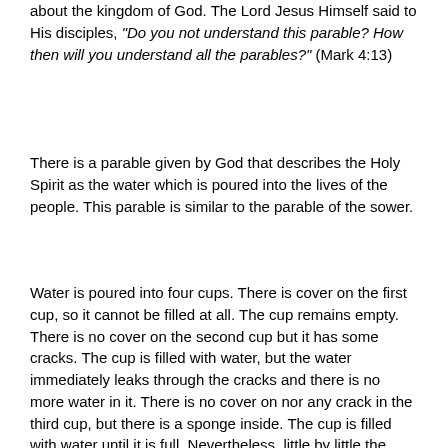about the kingdom of God. The Lord Jesus Himself said to His disciples, "Do you not understand this parable? How then will you understand all the parables?" (Mark 4:13)
There is a parable given by God that describes the Holy Spirit as the water which is poured into the lives of the people. This parable is similar to the parable of the sower.
Water is poured into four cups. There is cover on the first cup, so it cannot be filled at all. The cup remains empty. There is no cover on the second cup but it has some cracks. The cup is filled with water, but the water immediately leaks through the cracks and there is no more water in it. There is no cover on nor any crack in the third cup, but there is a sponge inside. The cup is filled with water until it is full. Nevertheless, little by little the water in the cup is absorbed by the sponge until there is no more water in it. The fourth cup is a good cup. It has no cover, no crack, and no sponge in it. The cup is filled with